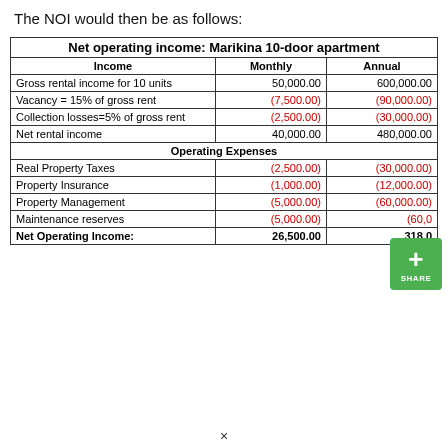The NOI would then be as follows:
| Income | Monthly | Annual |
| --- | --- | --- |
| Gross rental income for 10 units | 50,000.00 | 600,000.00 |
| Vacancy = 15% of gross rent | (7,500.00) | (90,000.00) |
| Collection losses=5% of gross rent | (2,500.00) | (30,000.00) |
| Net rental income | 40,000.00 | 480,000.00 |
| Operating Expenses |  |  |
| Real Property Taxes | (2,500.00) | (30,000.00) |
| Property Insurance | (1,000.00) | (12,000.00) |
| Property Management | (5,000.00) | (60,000.00) |
| Maintenance reserves | (5,000.00) | (60,000.00) |
| Net Operating Income: | 26,500.00 | 318,000.00 |